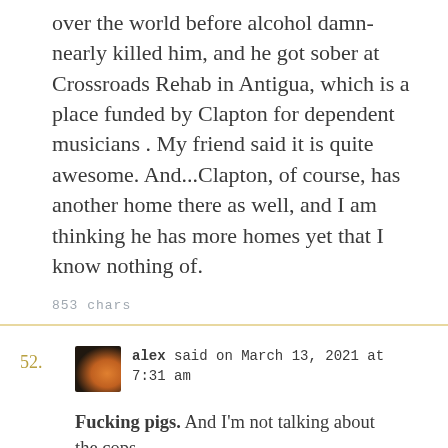over the world before alcohol damn-nearly killed him, and he got sober at Crossroads Rehab in Antigua, which is a place funded by Clapton for dependent musicians . My friend said it is quite awesome. And...Clapton, of course, has another home there as well, and I am thinking he has more homes yet that I know nothing of.
853 chars
52. alex said on March 13, 2021 at 7:31 am
Fucking pigs. And I'm not talking about the cops.